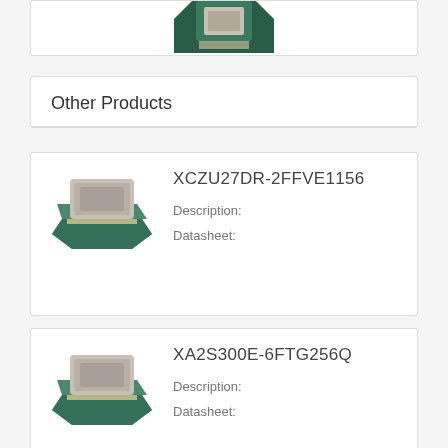[Figure (photo): Partial view of a chip/FPGA product image cropped at top of page]
Other Products
[Figure (photo): Xilinx FPGA chip product photo - silver and teal BGA package]
XCZU27DR-2FFVE1156
Description:
Datasheet:
[Figure (photo): Xilinx FPGA chip product photo - silver and teal BGA package]
XA2S300E-6FTG256Q
Description:
Datasheet: